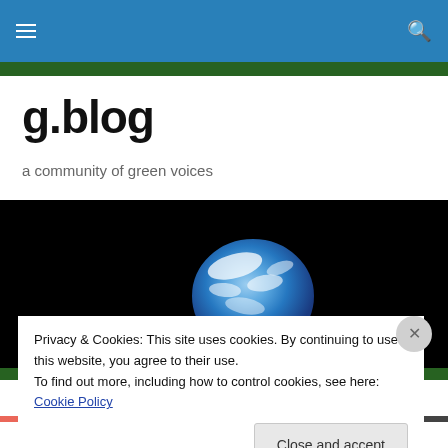g.blog navigation bar with hamburger menu and search icon
g.blog
a community of green voices
[Figure (photo): Photo of Earth from space — a half-illuminated globe showing blue oceans and white cloud cover, set against a black background.]
Privacy & Cookies: This site uses cookies. By continuing to use this website, you agree to their use.
To find out more, including how to control cookies, see here: Cookie Policy
Close and accept